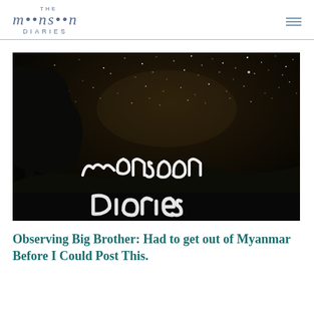THE MONSOON DIARIES
[Figure (photo): Night sky photograph with stars and silhouette of trees. In the foreground, 'Monsoon Diaries' is written in light-painting photography (white glowing cursive light trails against the dark sky).]
Observing Big Brother: Had to get out of Myanmar Before I Could Post This.